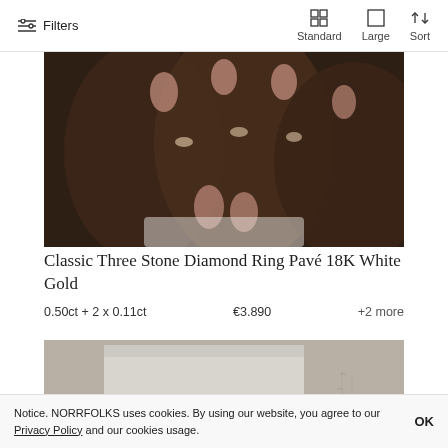Filters | Standard | Large | Sort
[Figure (photo): Close-up photo of hands with rings, dark skin tone, brown/dark background — product image for diamond ring]
Classic Three Stone Diamond Ring Pavé 18K White Gold
0.50ct + 2 x 0.11ct    €3.890    +2 more
[Figure (photo): Partial photo of a light-colored box or packaging with a small engraving or logo mark visible]
Notice. NORRFOLKS uses cookies. By using our website, you agree to our Privacy Policy and our cookies usage. OK